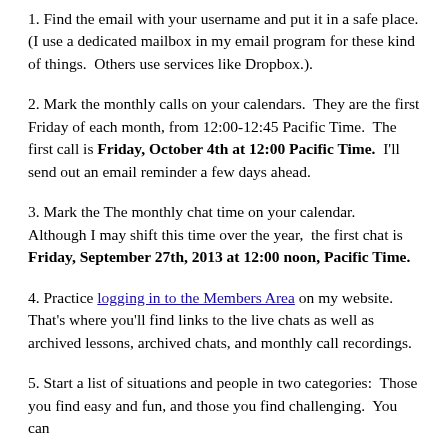1. Find the email with your username and put it in a safe place. (I use a dedicated mailbox in my email program for these kind of things.  Others use services like Dropbox.).
2. Mark the monthly calls on your calendars.  They are the first Friday of each month, from 12:00-12:45 Pacific Time.  The first call is Friday, October 4th at 12:00 Pacific Time.  I'll send out an email reminder a few days ahead.
3. Mark the The monthly chat time on your calendar.  Although I may shift this time over the year,  the first chat is Friday, September 27th, 2013 at 12:00 noon, Pacific Time.
4. Practice logging in to the Members Area on my website.  That's where you'll find links to the live chats as well as archived lessons, archived chats, and monthly call recordings.
5. Start a list of situations and people in two categories:  Those you find easy and fun, and those you find challenging.  You can